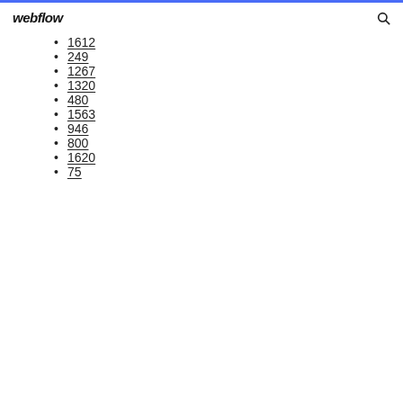webflow
1612
249
1267
1320
480
1563
946
800
1620
75